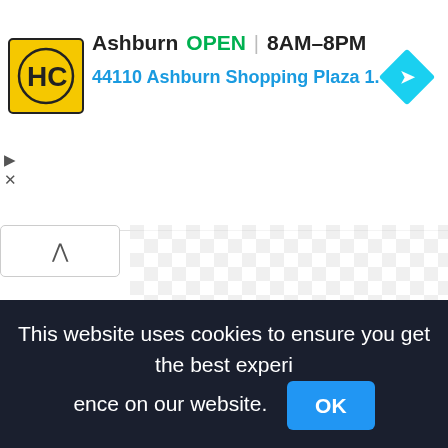[Figure (screenshot): Store listing header showing HC logo, Ashburn location, OPEN status 8AM-8PM, address 44110 Ashburn Shopping Plaza 1., navigation diamond icon, media control icons (play/close), collapse button with up arrow, and a transparent checkerboard area representing a map placeholder.]
This website uses cookies to ensure you get the best experience on our website.
OK